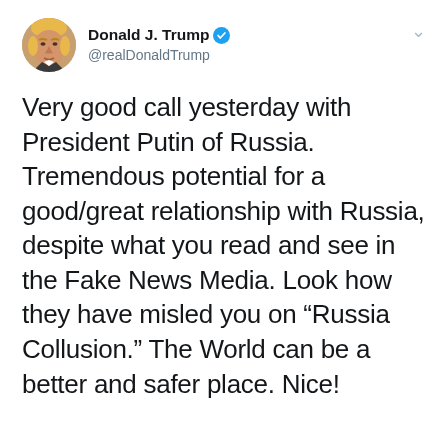[Figure (screenshot): Twitter/X profile header showing Donald J. Trump with verified badge and @realDonaldTrump handle]
Very good call yesterday with President Putin of Russia. Tremendous potential for a good/great relationship with Russia, despite what you read and see in the Fake News Media. Look how they have misled you on "Russia Collusion." The World can be a better and safer place. Nice!